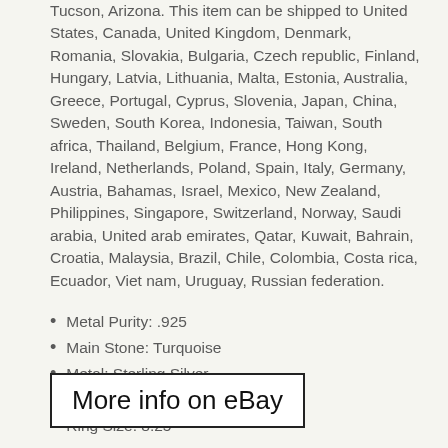Tucson, Arizona. This item can be shipped to United States, Canada, United Kingdom, Denmark, Romania, Slovakia, Bulgaria, Czech republic, Finland, Hungary, Latvia, Lithuania, Malta, Estonia, Australia, Greece, Portugal, Cyprus, Slovenia, Japan, China, Sweden, South Korea, Indonesia, Taiwan, South africa, Thailand, Belgium, France, Hong Kong, Ireland, Netherlands, Poland, Spain, Italy, Germany, Austria, Bahamas, Israel, Mexico, New Zealand, Philippines, Singapore, Switzerland, Norway, Saudi arabia, United arab emirates, Qatar, Kuwait, Bahrain, Croatia, Malaysia, Brazil, Chile, Colombia, Costa rica, Ecuador, Viet nam, Uruguay, Russian federation.
Metal Purity: .925
Main Stone: Turquoise
Metal: Sterling Silver
Jewelry Type: Ring
Ring Size: 8.25
More info on eBay